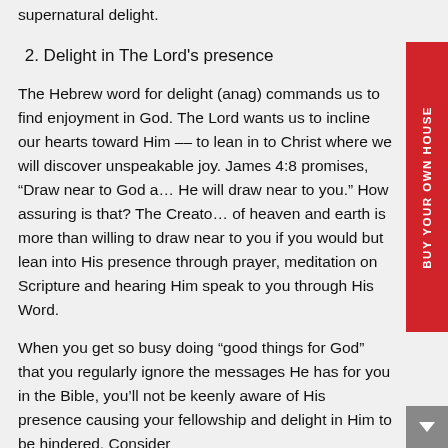supernatural delight.
2. Delight in The Lord's presence
The Hebrew word for delight (anag) commands us to find enjoyment in God. The Lord wants us to incline our hearts toward Him -- to lean in to Christ where we will discover unspeakable joy. James 4:8 promises, “Draw near to God and He will draw near to you.” How assuring is that? The Creator of heaven and earth is more than willing to draw near to you if you would but lean into His presence through prayer, meditation on Scripture and hearing Him speak to you through His Word.
When you get so busy doing “good things for God” that you regularly ignore the messages He has for you in the Bible, you’ll not be keenly aware of His presence causing your fellowship and delight in Him to be hindered. Consider